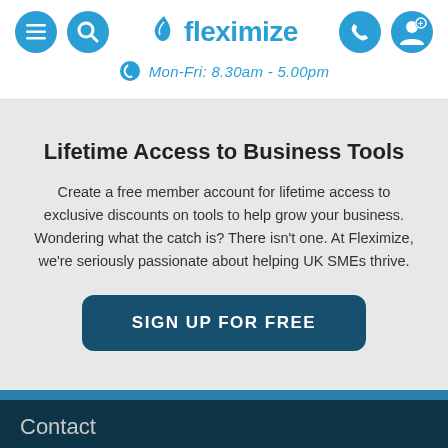fleximize — Mon-Fri: 8.30am - 5.00pm
Lifetime Access to Business Tools
Create a free member account for lifetime access to exclusive discounts on tools to help grow your business. Wondering what the catch is? There isn't one. At Fleximize, we're seriously passionate about helping UK SMEs thrive.
SIGN UP FOR FREE
Contact